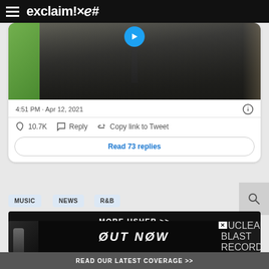exclaim!×ℯ#
[Figure (screenshot): Screenshot of an embedded tweet showing a person in a dark suit with a blue play button overlay, timestamp 4:51 PM · Apr 12, 2021, with 10.7K likes, Reply and Copy link to Tweet actions, and a Read 73 replies button]
MUSIC
NEWS
R&B
MORE USHER >>
[Figure (photo): Advertisement banner: OUT NOW - Nuclear Blast Records]
READ OUR LATEST COVERAGE >>